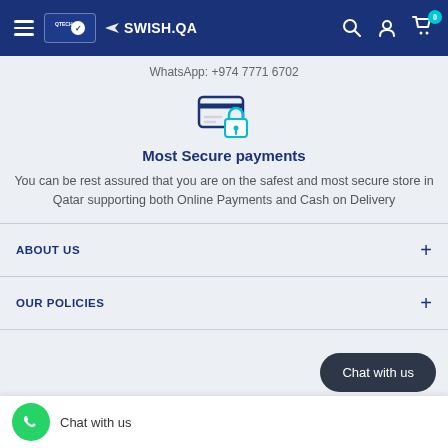SWISH.QA navigation bar with hamburger menu, logo, search, account, and cart icons
WhatsApp: +974 7771 6702
[Figure (illustration): Secure payment icon: credit card with a padlock overlay, in blue/teal colors]
Most Secure payments
You can be rest assured that you are on the safest and most secure store in Qatar supporting both Online Payments and Cash on Delivery
ABOUT US
OUR POLICIES
Chat with us